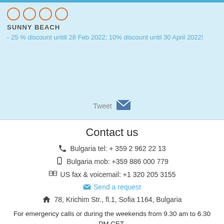[Figure (infographic): Four orange empty circles representing a star rating]
SUNNY BEACH
- 25 % discount untill 28 Feb 2022; 10% discount until 30 April 2022!
[Figure (infographic): Tweet label with email envelope icon]
Contact us
Bulgaria tel: + 359 2 962 22 13
Bulgaria mob: +359 886 000 779
US fax & voicemail: +1 320 205 3155
Send a request
78, Krichim Str., fl.1, Sofia 1164, Bulgaria
For emergency calls or during the weekends from 9.30 am to 6.30 PM CET, please dial: +359 886 000 779.